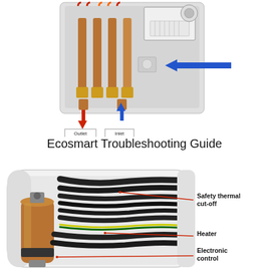[Figure (engineering-diagram): Photo of tankless water heater internals showing copper heating elements, wiring, flow meter labeled with blue arrow pointing left, outlet water line (red arrow pointing down) and inlet water line (blue arrow pointing up) labeled below the unit.]
Ecosmart Troubleshooting Guide
[Figure (engineering-diagram): Photo of open tankless water heater showing interior components: copper heater vessel on left, black wiring/cables, with red callout lines pointing to labeled components: Safety thermal cut-off, Heater, and Electronic control.]